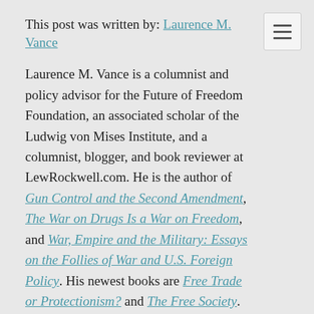This post was written by: Laurence M. Vance
Laurence M. Vance is a columnist and policy advisor for the Future of Freedom Foundation, an associated scholar of the Ludwig von Mises Institute, and a columnist, blogger, and book reviewer at LewRockwell.com. He is the author of Gun Control and the Second Amendment, The War on Drugs Is a War on Freedom, and War, Empire and the Military: Essays on the Follies of War and U.S. Foreign Policy. His newest books are Free Trade or Protectionism? and The Free Society. Visit his website: www.vancepublications.com. Send him e-mail.